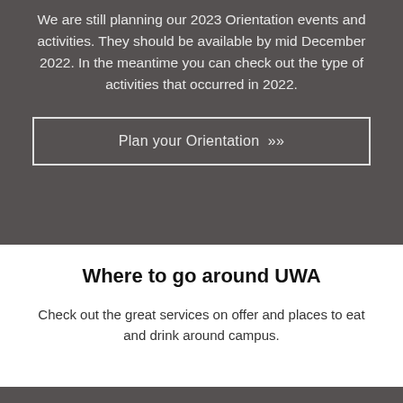We are still planning our 2023 Orientation events and activities. They should be available by mid December 2022. In the meantime you can check out the type of activities that occurred in 2022.
Plan your Orientation »
Where to go around UWA
Check out the great services on offer and places to eat and drink around campus.